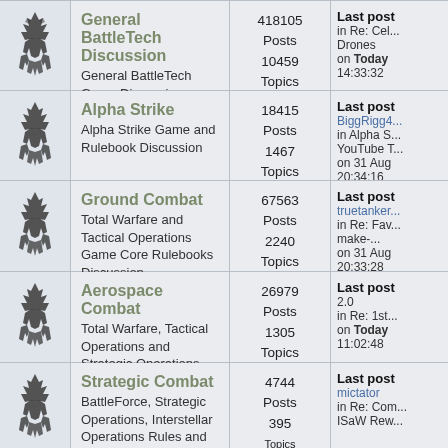| Icon | Forum | Stats | Last Post |
| --- | --- | --- | --- |
| [icon] | General BattleTech Discussion
General BattleTech Game Discussion | 418105 Posts
10459 Topics | Last post
in Re: Cel... Drones
on Today 14:33:32 |
| [icon] | Alpha Strike
Alpha Strike Game and Rulebook Discussion | 18415 Posts
1467 Topics | Last post
BiggRigg4...
in Alpha S... YouTube T...
on 31 Aug 20:34:16 |
| [icon] | Ground Combat
Total Warfare and Tactical Operations Game Core Rulebooks Discussion | 67563 Posts
2240 Topics | Last post
truetanker...
in Re: Fav... make-...
on 31 Aug 20:33:28 |
| [icon] | Aerospace Combat
Total Warfare, Tactical Operations and Strategic Operations Core Rulebooks Discussion | 26979 Posts
1305 Topics | Last post
2.0
in Re: 1st...
on Today 11:02:48 |
| [icon] | Strategic Combat
BattleForce, Strategic Operations, Interstellar Operations Rules and Game... | 4744 Posts
395 Topics | Last post
mictator
in Re: Com... ISaW Rew... |